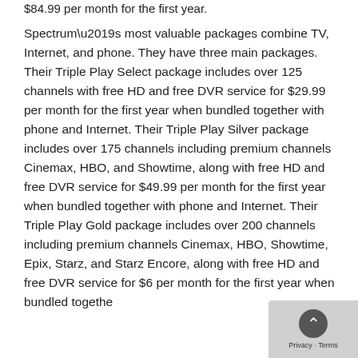$84.99 per month for the first year.
Spectrum’s most valuable packages combine TV, Internet, and phone. They have three main packages. Their Triple Play Select package includes over 125 channels with free HD and free DVR service for $29.99 per month for the first year when bundled together with phone and Internet. Their Triple Play Silver package includes over 175 channels including premium channels Cinemax, HBO, and Showtime, along with free HD and free DVR service for $49.99 per month for the first year when bundled together with phone and Internet. Their Triple Play Gold package includes over 200 channels including premium channels Cinemax, HBO, Showtime, Epix, Starz, and Starz Encore, along with free HD and free DVR service for $64.99 per month for the first year when bundled together